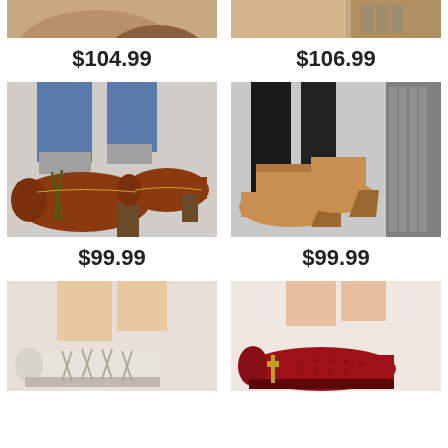[Figure (photo): Partial view of brown/tan shoes at top of page, left column]
[Figure (photo): Partial view of brown boots/bag at top of page, right column]
$104.99
$106.99
[Figure (photo): Woman wearing brown leather lace-up oxford heels with jeans and grey socks]
[Figure (photo): Woman in black leather pants wearing tan wedge ankle boots next to luggage]
$99.99
$99.99
[Figure (photo): Woman wearing white lace-up oxford shoes, partially visible at bottom]
[Figure (photo): Red oxford shoes partially visible at bottom right]